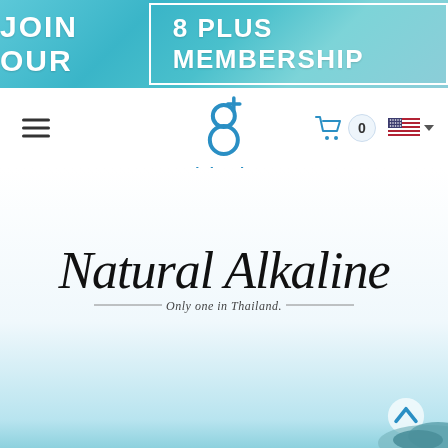[Figure (infographic): Teal/cyan gradient banner with text 'JOIN OUR' and boxed text '8 PLUS MEMBERSHIP' in white bold letters]
[Figure (logo): Eight Plus logo: stylized '8' with a plus sign, blue color, with text 'Eight Plus' below]
[Figure (infographic): Navigation bar with hamburger menu icon on left, Eight Plus logo in center, cart icon with count '0', US flag and dropdown arrow on right]
[Figure (illustration): Script/cursive text 'Natural Alkaline' in large handwritten font, with 'Only one in Thailand.' in smaller italic text below with decorative lines]
[Figure (infographic): Blue chevron/caret scroll-up button at bottom right, with rocky/stone image at bottom right corner]